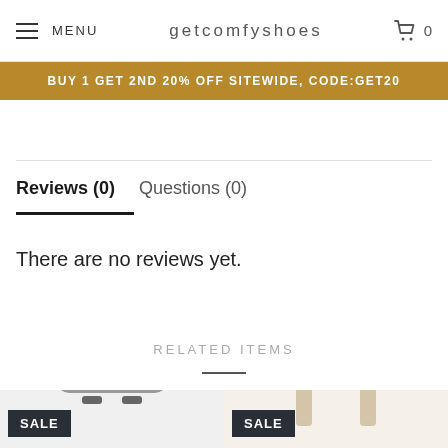MENU | GETCOMFYSHOES | 0
BUY 1 GET 2ND 20% OFF SITEWIDE, CODE:GET20
Reviews (0)   Questions (0)
There are no reviews yet.
RELATED ITEMS
[Figure (photo): Two handbags shown as related items, both labeled SALE. Left: grey leather backpack. Right: cream floral structured bag.]